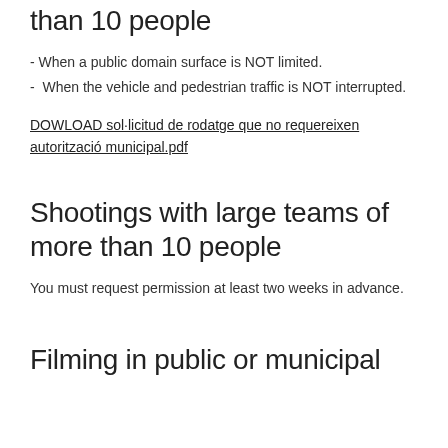than 10 people
- When a public domain surface is NOT limited.
- When the vehicle and pedestrian traffic is NOT interrupted.
DOWLOAD sol·licitud de rodatge que no requereixen autorització municipal.pdf
Shootings with large teams of more than 10 people
You must request permission at least two weeks in advance.
Filming in public or municipal